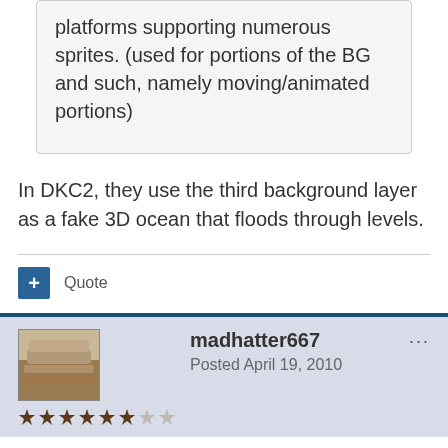platforms supporting numerous sprites. (used for portions of the BG and such, namely moving/animated portions)
In DKC2, they use the third background layer as a fake 3D ocean that floods through levels.
Quote
madhatter667
Posted April 19, 2010
How about Summer Carnival '92 (Recca) for